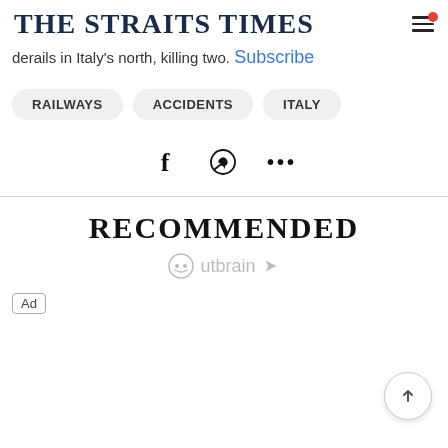THE STRAITS TIMES
derails in Italy's north, killing two. Subscribe
RAILWAYS
ACCIDENTS
ITALY
RECOMMENDED
Outbrain
Ad